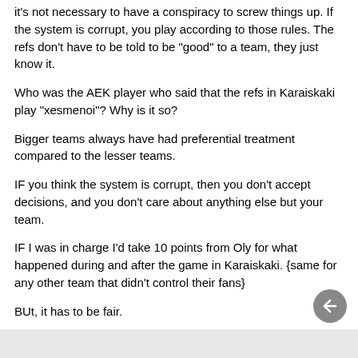it's not necessary to have a conspiracy to screw things up. If the system is corrupt, you play according to those rules. The refs don't have to be told to be "good" to a team, they just know it.
Who was the AEK player who said that the refs in Karaiskaki play "xesmenoi"? Why is it so?
Bigger teams always have had preferential treatment compared to the lesser teams.
IF you think the system is corrupt, then you don't accept decisions, and you don't care about anything else but your team.
IF I was in charge I'd take 10 points from Oly for what happened during and after the game in Karaiskaki. {same for any other team that didn't control their fans}
BUt, it has to be fair.
Getting foreign refs may be a solution, but, guys, this is falling very low. Since the revo of 1821, Greeks needed foreigners to adjudicate their disputes!